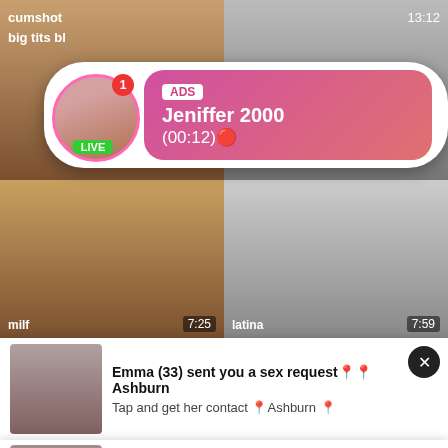[Figure (screenshot): Adult content website screenshot showing video thumbnails with tags 'cumshot', 'big tits bl', timestamp '13:12', and two video thumbnails labeled 'milf' (7:25) and 'latina' (7:59)]
ADS
Jeniffer 2000
(00:12)🔴
LIVE
Emma (33) sent you a sex request📍📍Ashburn
Tap and get her contact 📍Ashburn 📍
Local MOMs Need Sex 🔥🔥
MILFs & MOMs looking for discreet Sex 30+ 🔥🔥